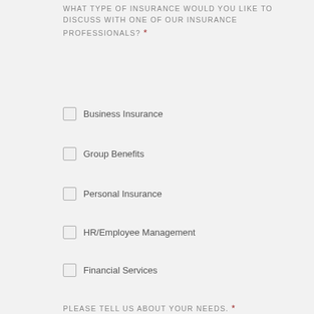WHAT TYPE OF INSURANCE WOULD YOU LIKE TO DISCUSS WITH ONE OF OUR INSURANCE PROFESSIONALS? *
Business Insurance
Group Benefits
Personal Insurance
HR/Employee Management
Financial Services
PLEASE TELL US ABOUT YOUR NEEDS. *
[Figure (other): Empty text area input box for user to describe their needs]